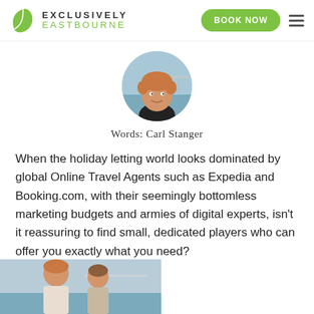EXCLUSIVELY EASTBOURNE — BOOK NOW
[Figure (photo): Circular profile photo of Carl Stanger, a man with reddish-blond hair smiling, with a seaside pier background]
Words: Carl Stanger
When the holiday letting world looks dominated by global Online Travel Agents such as Expedia and Booking.com, with their seemingly bottomless marketing budgets and armies of digital experts, isn't it reassuring to find small, dedicated players who can offer you exactly what you need?
[Figure (photo): Partial bottom photo showing a man and woman outdoors near the seaside]